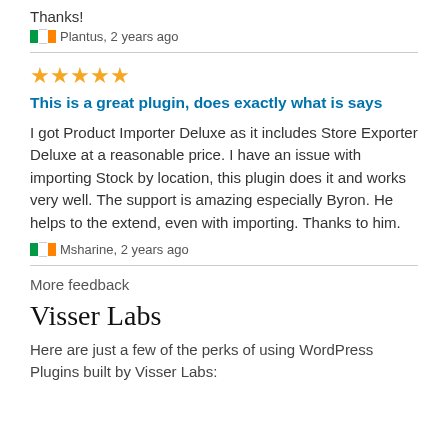Thanks!
🇮🇪 Plantus, 2 years ago
[Figure (other): Five gold star rating]
This is a great plugin, does exactly what is says
I got Product Importer Deluxe as it includes Store Exporter Deluxe at a reasonable price. I have an issue with importing Stock by location, this plugin does it and works very well. The support is amazing especially Byron. He helps to the extend, even with importing. Thanks to him.
🇮🇪 Msharine, 2 years ago
More feedback
Visser Labs
Here are just a few of the perks of using WordPress Plugins built by Visser Labs: